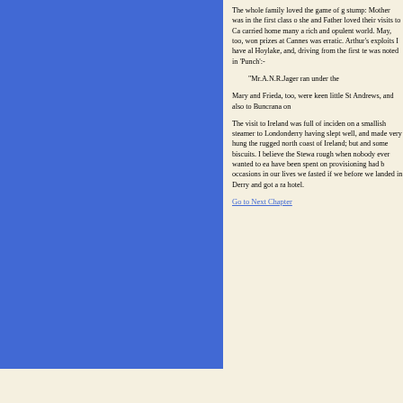The whole family loved the game of g... stump: Mother was in the first class o... she and Father loved their visits to Ca... carried home many a rich and opulent... world. May, too, won prizes at Cannes... was erratic. Arthur's exploits I have al... Hoylake, and, driving from the first te... was noted in 'Punch':-
"Mr.A.N.R.Jager ran under the..."
Mary and Frieda, too, were keen little... St Andrews, and also to Buncrana on...
The visit to Ireland was full of inciden... on a smallish steamer to Londonderry... having slept well, and made very hung... the rugged north coast of Ireland; but... and some biscuits. I believe the Stewa... rough when nobody ever wanted to ea... have been spent on provisioning had b... occasions in our lives we fasted if we... before we landed in Derry and got a r... hotel.
Go to Next Chapter